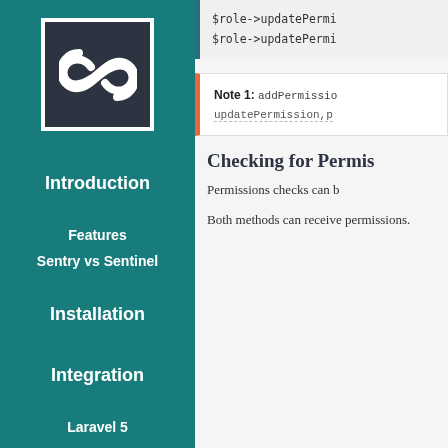[Figure (logo): Sentinel/Sentry logo - white infinity-like symbol in dark square box]
Introduction
Features
Sentry vs Sentinel
Installation
Integration
Laravel 5
$role->updatePermi
$role->updatePermi
Note 1: addPermissio
updatePermission,p
Checking for Permis
Permissions checks can b
Both methods can receive permissions.